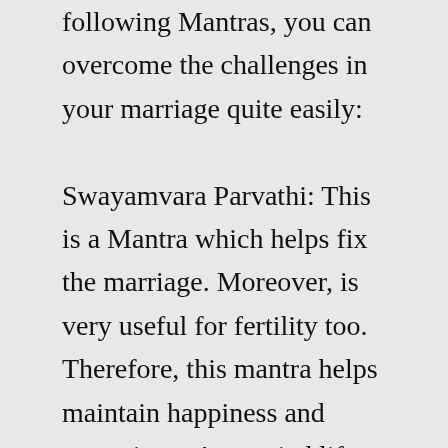following Mantras, you can overcome the challenges in your marriage quite easily: Swayamvara Parvathi: This is a Mantra which helps fix the marriage. Moreover, is very useful for fertility too. Therefore, this mantra helps maintain happiness and peace in one's married life. The Mantra is “Om HreemYoginimYoginiYogeswari Yoga ... GANESH MAHA MANTRA to REMOVE ALL OBSTACLES || OM GAM GANPATAYE NAMAHA ||Its a meditation